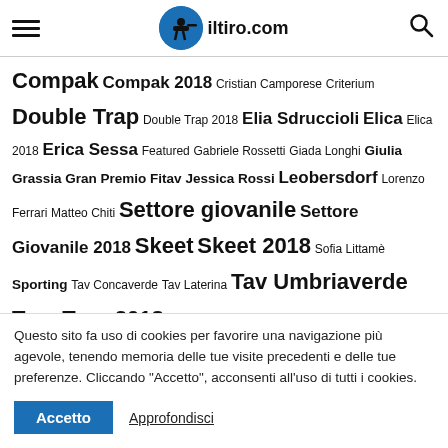iltiro.com
Compak Compak 2018 Cristian Camporese Criterium Double Trap Double Trap 2018 Elia Sdruccioli Elica Elica 2018 Erica Sessa Featured Gabriele Rossetti Giada Longhi Giulia Grassia Gran Premio Fitav Jessica Rossi Leobersdorf Lorenzo Ferrari Matteo Chiti Settore giovanile Settore Giovanile 2018 Skeet Skeet 2018 Sofia Littamè Sporting Tav Concaverde Tav Laterina Tav Umbriaverde Trap Trap 2018 Trap Concaverde
IL MERCATINO DEL TIRO
[Figure (screenshot): Blue banner strip partially visible at bottom of section]
Questo sito fa uso di cookies per favorire una navigazione più agevole, tenendo memoria delle tue visite precedenti e delle tue preferenze. Cliccando "Accetto", acconsenti all'uso di tutti i cookies.
Accetto   Approfondisci